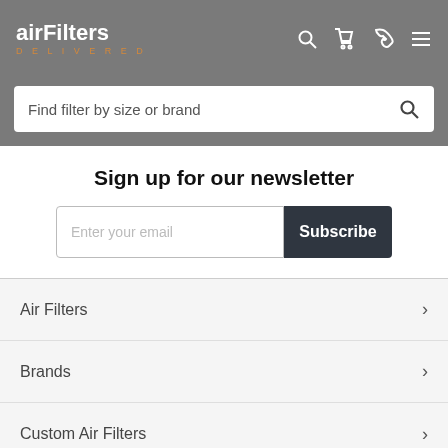airFilters DELIVERED
Find filter by size or brand
Sign up for our newsletter
Enter your email
Subscribe
Air Filters
Brands
Custom Air Filters